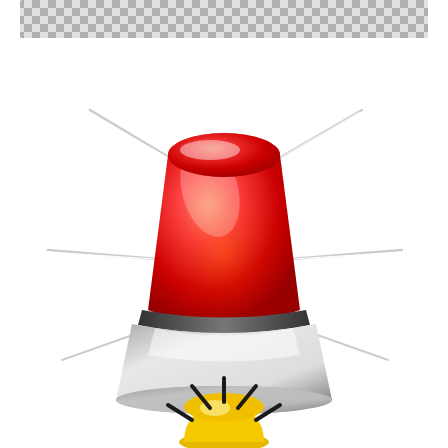[Figure (illustration): Two alarm/siren illustrations on a white background. Top: a large realistic red police/emergency siren with a red dome-shaped light on a gray cylindrical base, with bright white flash lines radiating outward on both sides, and a checkered gray pattern at the very top of the image. Bottom: a smaller simple cartoon-style yellow warning siren/alarm with black radiating lines above a semicircular yellow dome base, partially visible at bottom of page.]